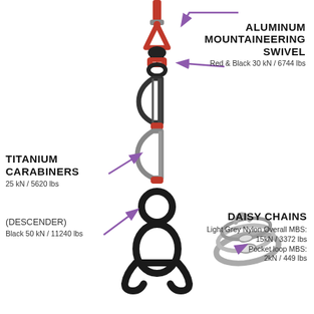[Figure (infographic): Climbing/rappelling equipment infographic showing an aluminum mountaineering swivel (red & black, 30 kN / 6744 lbs) connected to titanium carabiners (25 kN / 5620 lbs) and a black figure-8 descender (50 kN / 11240 lbs), with a grey daisy chain (light grey nylon, overall MBS: 15kN / 3372 lbs, pocket loop MBS: 2kN / 449 lbs). Purple arrows point to each component.]
ALUMINUM MOUNTAINEERING SWIVEL
Red & Black 30 kN / 6744 lbs
TITANIUM CARABINERS
25 kN / 5620 lbs
(DESCENDER)
Black 50 kN / 11240 lbs
DAISY CHAINS
Light Grey Nylon Overall MBS:
15kN / 3372 lbs
Pocket loop MBS:
2kN / 449 lbs